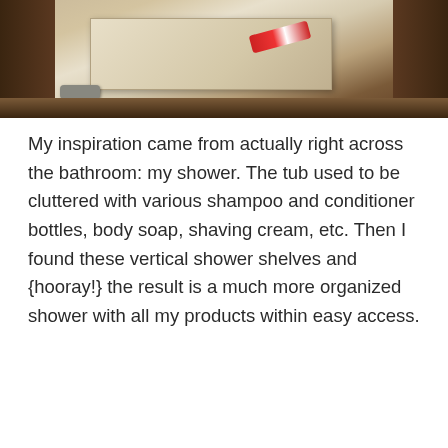[Figure (photo): Photo of a bathroom drawer/countertop with a toothpaste tube visible, wooden cabinet below]
My inspiration came from actually right across the bathroom: my shower. The tub used to be cluttered with various shampoo and conditioner bottles, body soap, shaving cream, etc. Then I found these vertical shower shelves and {hooray!} the result is a much more organized shower with all my products within easy access.
[Figure (photo): Photo of a vertical shower shelf/caddy mounted on a pole in a tiled shower, holding various bottles including shampoo, conditioner, and Organics brand products]